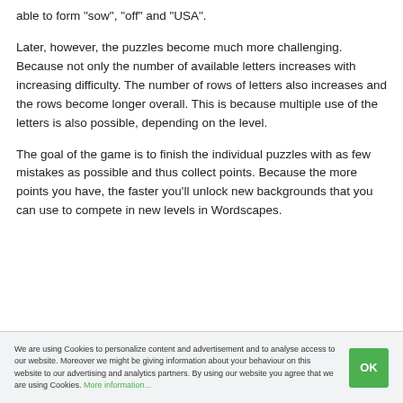able to form "sow", "off" and "USA".
Later, however, the puzzles become much more challenging. Because not only the number of available letters increases with increasing difficulty. The number of rows of letters also increases and the rows become longer overall. This is because multiple use of the letters is also possible, depending on the level.
The goal of the game is to finish the individual puzzles with as few mistakes as possible and thus collect points. Because the more points you have, the faster you'll unlock new backgrounds that you can use to compete in new levels in Wordscapes.
We are using Cookies to personalize content and advertisement and to analyse access to our website. Moreover we might be giving information about your behaviour on this website to our advertising and analytics partners. By using our website you agree that we are using Cookies. More information...